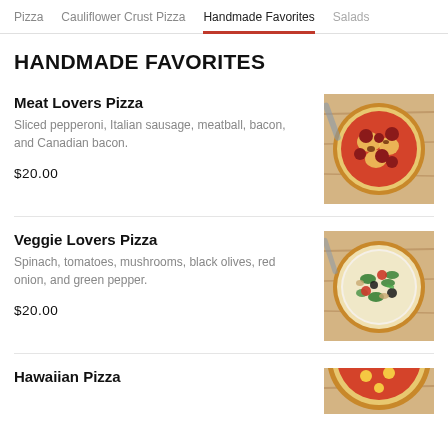Pizza    Cauliflower Crust Pizza    Handmade Favorites    Salads
HANDMADE FAVORITES
Meat Lovers Pizza
Sliced pepperoni, Italian sausage, meatball, bacon, and Canadian bacon.
$20.00
[Figure (photo): Meat lovers pizza with pepperoni and various meats on a wooden surface]
Veggie Lovers Pizza
Spinach, tomatoes, mushrooms, black olives, red onion, and green pepper.
$20.00
[Figure (photo): Veggie lovers pizza with spinach, tomatoes, mushrooms, olives, on a wooden surface]
Hawaiian Pizza
[Figure (photo): Hawaiian pizza partially visible at the bottom of the page]